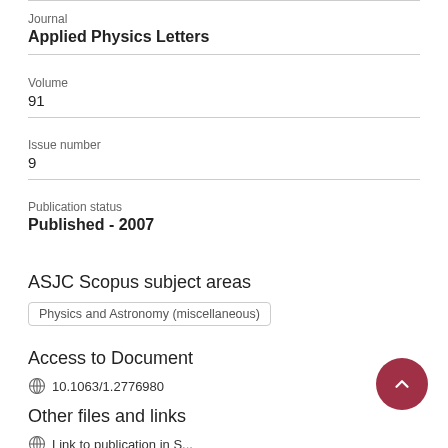Journal
Applied Physics Letters
Volume
91
Issue number
9
Publication status
Published - 2007
ASJC Scopus subject areas
Physics and Astronomy (miscellaneous)
Access to Document
10.1063/1.2776980
Other files and links
Link to publication in Scopus